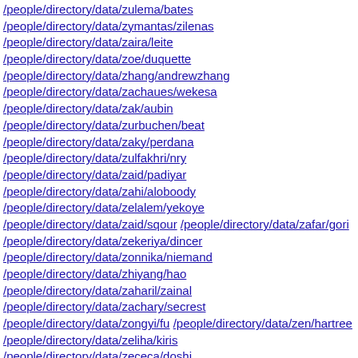/people/directory/data/zulema/bates
/people/directory/data/zymantas/zilenas
/people/directory/data/zaira/leite
/people/directory/data/zoe/duquette
/people/directory/data/zhang/andrewzhang
/people/directory/data/zachaues/wekesa
/people/directory/data/zak/aubin
/people/directory/data/zurbuchen/beat
/people/directory/data/zaky/perdana
/people/directory/data/zulfakhri/nry
/people/directory/data/zaid/padiyar
/people/directory/data/zahi/aloboody
/people/directory/data/zelalem/yekoye
/people/directory/data/zaid/sqour /people/directory/data/zafar/gori
/people/directory/data/zekeriya/dincer
/people/directory/data/zonnika/niemand
/people/directory/data/zhiyang/hao
/people/directory/data/zaharil/zainal
/people/directory/data/zachary/secrest
/people/directory/data/zongyi/fu /people/directory/data/zen/hartree
/people/directory/data/zeliha/kiris
/people/directory/data/zececa/doshi
/people/directory/data/zsuzsanna/bakura
/people/directory/data/zicky/zaki /people/directory/data/zolfaqar/b
/people/directory/data/zeynep/dudu